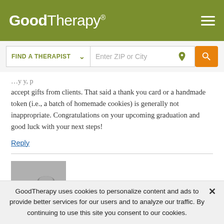GoodTherapy®
[Figure (screenshot): GoodTherapy website header with logo, hamburger menu, and Find a Therapist search bar with ZIP or City input and orange search button]
accept gifts from clients. That said a thank you card or a handmade token (i.e., a batch of homemade cookies) is generally not inappropriate. Congratulations on your upcoming graduation and good luck with your next steps!
Reply
Jean Fairgrieve
GoodTherapy uses cookies to personalize content and ads to provide better services for our users and to analyze our traffic. By continuing to use this site you consent to our cookies.